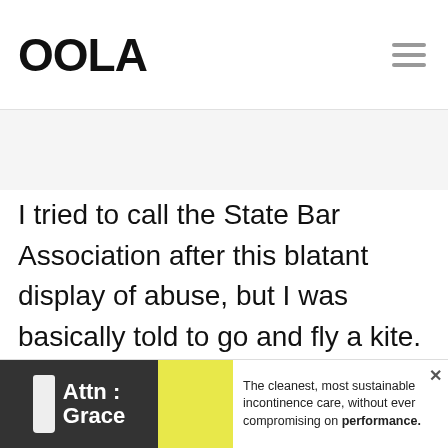OOLA
I tried to call the State Bar Association after this blatant display of abuse, but I was basically told to go and fly a kite. I had no tangible proof, aside from the obviously one-sided divorce settlement and what
[Figure (infographic): Advertisement banner for Attn: Grace incontinence care product. Shows product bottle on dark background with yellow accent block and text: The cleanest, most sustainable incontinence care, without ever compromising on performance.]